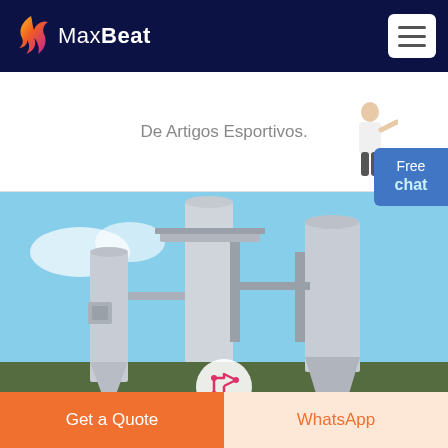MaxBeat
De Artigos Esportivos.
[Figure (photo): Industrial silos and processing equipment against a blue sky, showing large conical metal separators and structural framework.]
Free chat
Get a Quote
WhatsApp